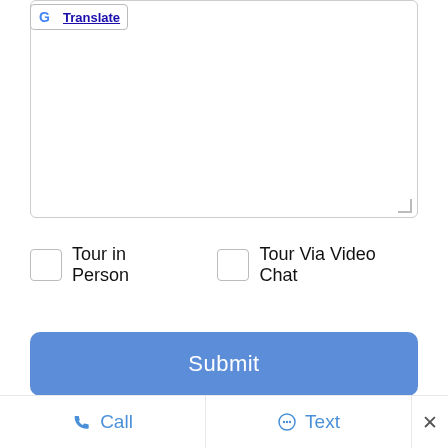[Figure (screenshot): Google Translate button/banner at top left corner of a text input field]
85301.
Tour in Person
Tour Via Video Chat
Submit
Disclaimer: By entering your information and submitting this form, you agree to our Terms of Use and Privacy Policy and that you may be contacted by phone, text message and email about your inquiry.
[Figure (logo): ARMLS logo in red bold text]
Call   Text   ×